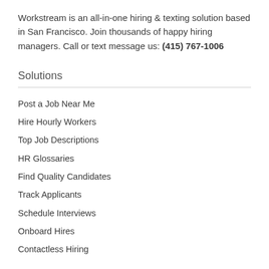Workstream is an all-in-one hiring & texting solution based in San Francisco. Join thousands of happy hiring managers. Call or text message us: (415) 767-1006
Solutions
Post a Job Near Me
Hire Hourly Workers
Top Job Descriptions
HR Glossaries
Find Quality Candidates
Track Applicants
Schedule Interviews
Onboard Hires
Contactless Hiring